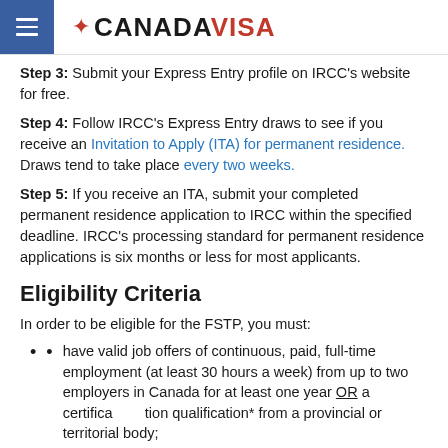CANADA VISA
Step 3: Submit your Express Entry profile on IRCC's website for free.
Step 4: Follow IRCC's Express Entry draws to see if you receive an Invitation to Apply (ITA) for permanent residence. Draws tend to take place every two weeks.
Step 5: If you receive an ITA, submit your completed permanent residence application to IRCC within the specified deadline. IRCC's processing standard for permanent residence applications is six months or less for most applicants.
Eligibility Criteria
In order to be eligible for the FSTP, you must:
have valid job offers of continuous, paid, full-time employment (at least 30 hours a week) from up to two employers in Canada for at least one year OR a certificate of qualification* from a provincial or territorial body;
provide proof of basic language proficiency from a